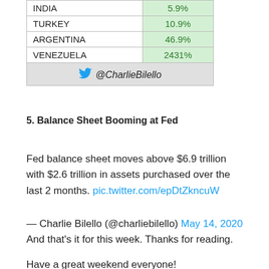| Country | Value |
| --- | --- |
| INDIA | 5.9% |
| TURKEY | 10.9% |
| ARGENTINA | 46.9% |
| VENEZUELA | 2431% |
| @CharlieBilello |  |
5. Balance Sheet Booming at Fed
Fed balance sheet moves above $6.9 trillion with $2.6 trillion in assets purchased over the last 2 months. pic.twitter.com/epDtZkncuW
— Charlie Bilello (@charliebilello) May 14, 2020 And that's it for this week. Thanks for reading.
Have a great weekend everyone!